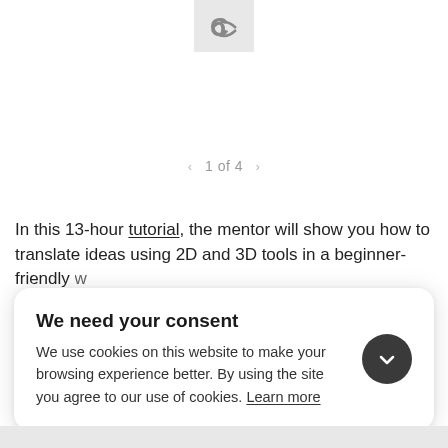[Figure (logo): Small logo icon with stylized letter or symbol on light gray background at top center]
1 of 4
In this 13-hour tutorial, the mentor will show you how to translate ideas using 2D and 3D tools in a beginner-friendly w...
We need your consent
We use cookies on this website to make your browsing experience better. By using the site you agree to our use of cookies. Learn more